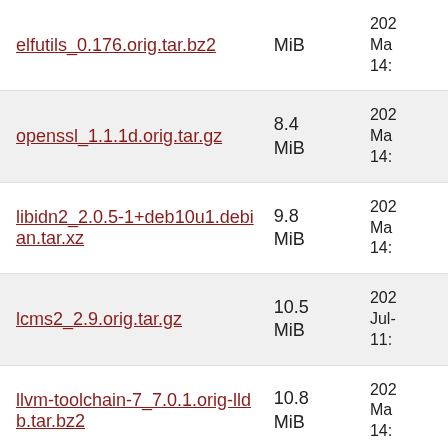| Name | Size | Date |
| --- | --- | --- |
| elfutils_0.176.orig.tar.bz2 | MiB | Ma
14: |
| openssl_1.1.1d.orig.tar.gz | 8.4
MiB | 202
Ma
14: |
| libidn2_2.0.5-1+deb10u1.debian.tar.xz | 9.8
MiB | 202
Ma
14: |
| lcms2_2.9.orig.tar.gz | 10.5
MiB | 202
Jul-
11: |
| llvm-toolchain-7_7.0.1.orig-lldb.tar.bz2 | 10.8
MiB | 202
Ma
14: |
| fonts-dejavu_2.37.orig.tar.bz2 | 11.5
MiB | 202
Ma
14: |
| perl_5.28.1.orig.tar.xz | 11.8
MiB | 202
Ma
14: |
| gtk+2.0_2.24.32.orig.tar.xz | 12.0
MiB | 202
Ma
14: |